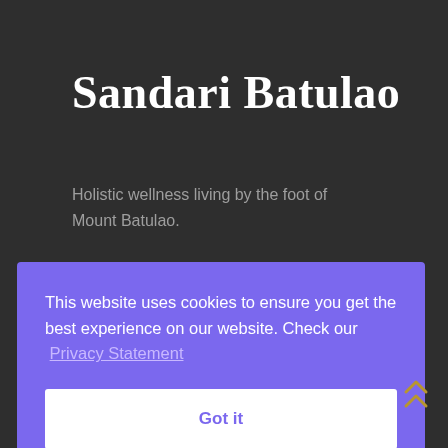Sandari Batulao
Holistic wellness living by the foot of Mount Batulao.
This website uses cookies to ensure you get the best experience on our website. Check our Privacy Statement
Got it